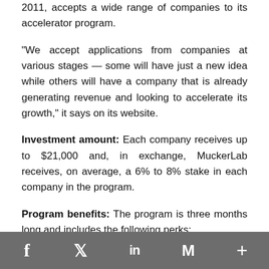2011, accepts a wide range of companies to its accelerator program.
"We accept applications from companies at various stages — some will have just a new idea while others will have a company that is already generating revenue and looking to accelerate its growth," it says on its website.
Investment amount: Each company receives up to $21,000 and, in exchange, MuckerLab receives, on average, a 6% to 8% stake in each company in the program.
Program benefits: The program is three months long and includes the following perks:
Office space
Legal support
Access to the advisor network
f  twitter  in  M  +